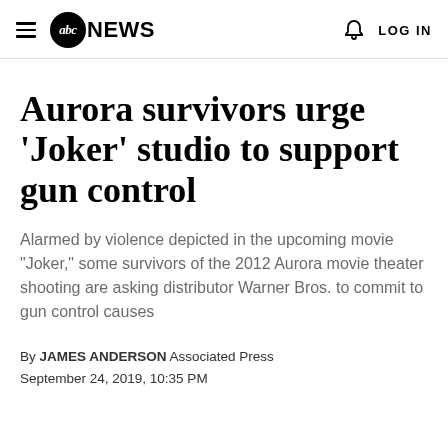abc NEWS  LOG IN
Aurora survivors urge 'Joker' studio to support gun control
Alarmed by violence depicted in the upcoming movie "Joker," some survivors of the 2012 Aurora movie theater shooting are asking distributor Warner Bros. to commit to gun control causes
By JAMES ANDERSON Associated Press
September 24, 2019, 10:35 PM